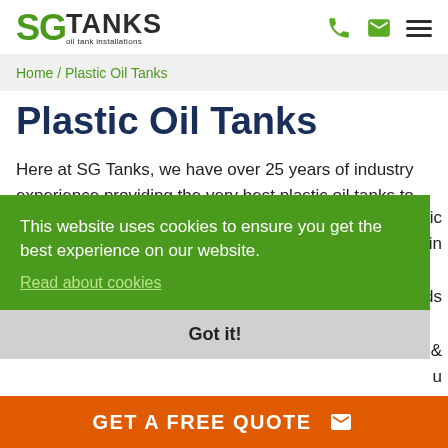SG TANKS oil tank installations
Home / Plastic Oil Tanks
Plastic Oil Tanks
Here at SG Tanks, we have over 25 years of industry experience providing the very best plastic oil tanks to [partially obscured] ...istic ...g in ...rds ...e & ...u
This website uses cookies to ensure you get the best experience on our website. Read about cookies
Got it!
GET A FREE QUOTE